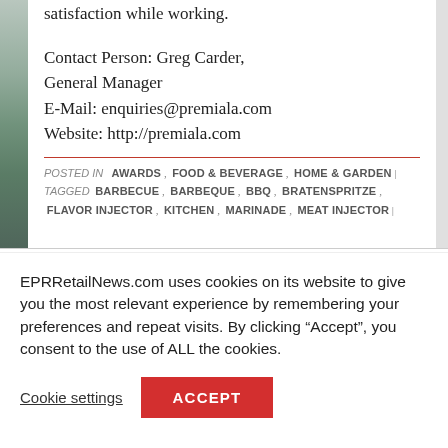satisfaction while working.
Contact Person: Greg Carder, General Manager
E-Mail: enquiries@premiala.com
Website: http://premiala.com
POSTED IN  AWARDS ,  FOOD & BEVERAGE ,  HOME & GARDEN  |  TAGGED  BARBECUE ,  BARBEQUE ,  BBQ ,  BRATENSPRITZE ,  FLAVOR INJECTOR ,  KITCHEN ,  MARINADE ,  MEAT INJECTOR  |
EPRRetailNews.com uses cookies on its website to give you the most relevant experience by remembering your preferences and repeat visits. By clicking “Accept”, you consent to the use of ALL the cookies.
Cookie settings
ACCEPT